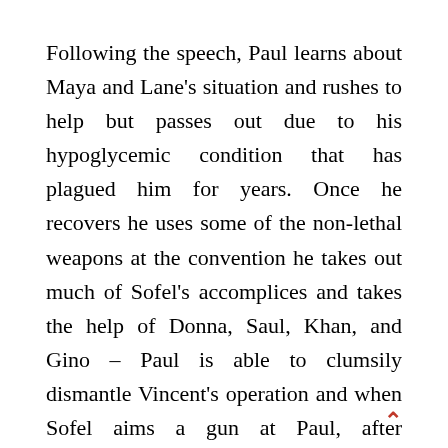Following the speech, Paul learns about Maya and Lane's situation and rushes to help but passes out due to his hypoglycemic condition that has plagued him for years. Once he recovers he uses some of the non-lethal weapons at the convention he takes out much of Sofel's accomplices and takes the help of Donna, Saul, Khan, and Gino – Paul is able to clumsily dismantle Vincent's operation and when Sofel aims a gun at Paul, after Eduardo's brave intervention, Maya uses oatmeal infused sunscreen on Sofel's face to make him burn due to his allergy. Afterward, Paul convinces Divina that her attraction for him is misplaced, and Eduardo is who she should really be with. Paul also accepts Maya going to UCLA, funding her tuition with the reward money he obtained for stopping Vincent. After dropping off Maya at